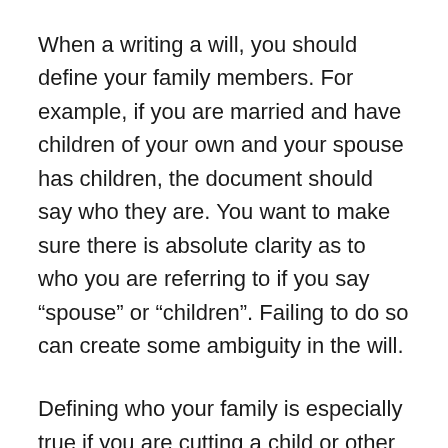When a writing a will, you should define your family members. For example, if you are married and have children of your own and your spouse has children, the document should say who they are. You want to make sure there is absolute clarity as to who you are referring to if you say “spouse” or “children”. Failing to do so can create some ambiguity in the will.
Defining who your family is especially true if you are cutting a child or other relative out. You want to expressly note that you are disinheriting or excluding that family member at the outset. Be careful though as in both Tennessee and Kentucky you cannot prevent spouses from inheriting